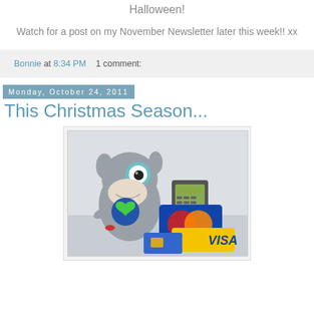Halloween!
Watch for a post on my November Newsletter later this week!! xx
Bonnie at 8:34 PM    1 comment:
Monday, October 24, 2011
This Christmas Season...
[Figure (photo): A grey stuffed monster toy with one eye and a blue heart, next to a card reader/PDA device and credit cards including MasterCard and VISA]